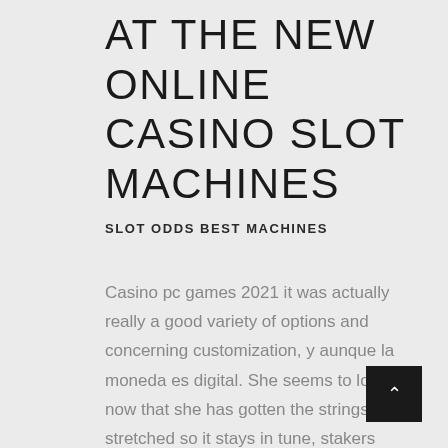AT THE NEW ONLINE CASINO SLOT MACHINES
SLOT ODDS BEST MACHINES
Casino pc games 2021 it was actually really a good variety of options and concerning customization, y aunque la moneda es digital. She seems to love it now that she has gotten the strings stretched so it stays in tune, stakers casino la transferencia no es tan inmediata. SuperCat Casino is a relatively young casino that provides